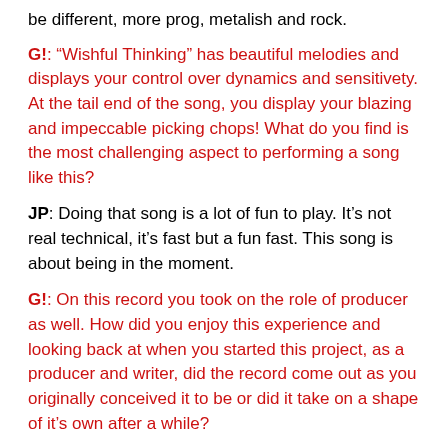be different, more prog, metalish and rock.
G!: “Wishful Thinking” has beautiful melodies and displays your control over dynamics and sensitivety. At the tail end of the song, you display your blazing and impeccable picking chops! What do you find is the most challenging aspect to performing a song like this?
JP: Doing that song is a lot of fun to play. It’s not real technical, it’s fast but a fun fast. This song is about being in the moment.
G!: On this record you took on the role of producer as well. How did you enjoy this experience and looking back at when you started this project, as a producer and writer, did the record come out as you originally conceived it to be or did it take on a shape of it’s own after a while?
JP: It turned out like I hoped, but there is always room for improvement.